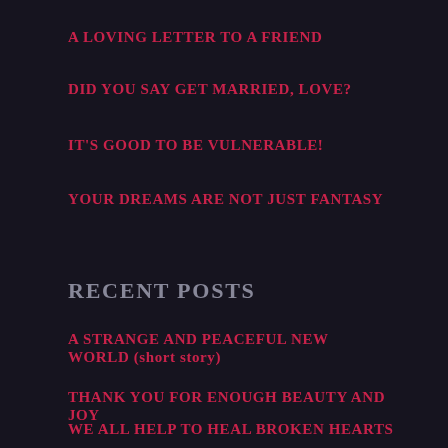A LOVING LETTER TO A FRIEND
DID YOU SAY GET MARRIED, LOVE?
IT'S GOOD TO BE VULNERABLE!
YOUR DREAMS ARE NOT JUST FANTASY
RECENT POSTS
A STRANGE AND PEACEFUL NEW WORLD (short story)
THANK YOU FOR ENOUGH BEAUTY AND JOY
WE ALL HELP TO HEAL BROKEN HEARTS